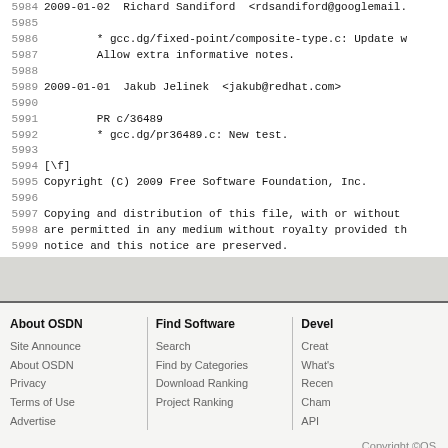5984 2009-01-02  Richard Sandiford  <rdsandiford@googlemail.
5985
5986          * gcc.dg/fixed-point/composite-type.c: Update w
5987          Allow extra informative notes.
5988
5989 2009-01-01  Jakub Jelinek  <jakub@redhat.com>
5990
5991          PR c/36489
5992          * gcc.dg/pr36489.c: New test.
5993
5994 [\f]
5995 Copyright (C) 2009 Free Software Foundation, Inc.
5996
5997 Copying and distribution of this file, with or without
5998 are permitted in any medium without royalty provided th
5999 notice and this notice are preserved.
About OSDN | Find Software | Devel
Site Announce | Search | Create
About OSDN | Find by Categories | What's
Privacy | Download Ranking | Recen
Terms of Use | Project Ranking | Cham
Advertise | | API
Copyright ©OS